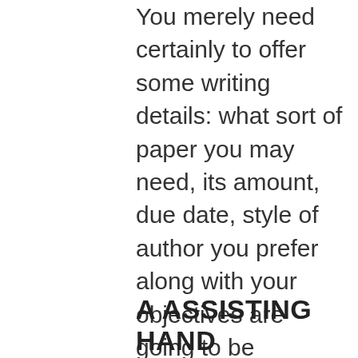You merely need certainly to offer some writing details: what sort of paper you may need, its amount, due date, style of author you prefer along with your objectives are going to be completely met. Right while you ask us ‘write an amazing paper instance in my situation making sure that i could produce my personal college masterpiece effortlessly’, we have down seriously to taking care of it considering all of your demands.
A ASSISTING HAND